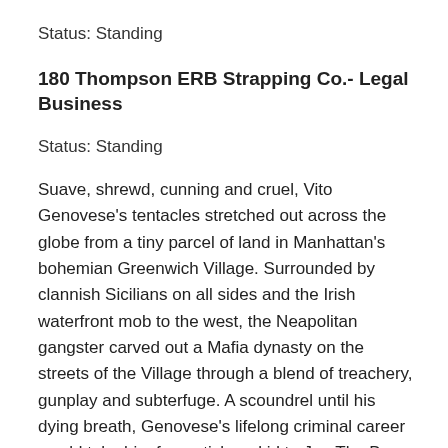Status: Standing
180 Thompson ERB Strapping Co.- Legal Business
Status: Standing
Suave, shrewd, cunning and cruel, Vito Genovese’s tentacles stretched out across the globe from a tiny parcel of land in Manhattan’s bohemian Greenwich Village. Surrounded by clannish Sicilians on all sides and the Irish waterfront mob to the west, the Neapolitan gangster carved out a Mafia dynasty on the streets of the Village through a blend of treachery, gunplay and subterfuge. A scoundrel until his dying breath, Genovese’s lifelong criminal career would take him from stick-up kid to Joe The Boss Masseria’s ace hitman to Mussolini’s bosom buddy. Over time, Genovese grew to be a gangland...